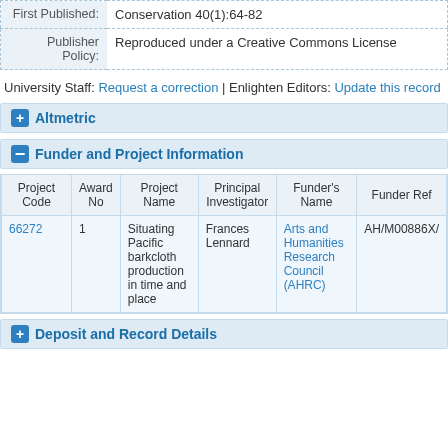| Field | Value |
| --- | --- |
| First Published: | Conservation 40(1):64-82 |
| Publisher Policy: | Reproduced under a Creative Commons License |
University Staff: Request a correction | Enlighten Editors: Update this record
+ Altmetric
- Funder and Project Information
| Project Code | Award No | Project Name | Principal Investigator | Funder's Name | Funder Ref |
| --- | --- | --- | --- | --- | --- |
| 66272 | 1 | Situating Pacific barkcloth production in time and place | Frances Lennard | Arts and Humanities Research Council (AHRC) | AH/M00886X/ |
+ Deposit and Record Details